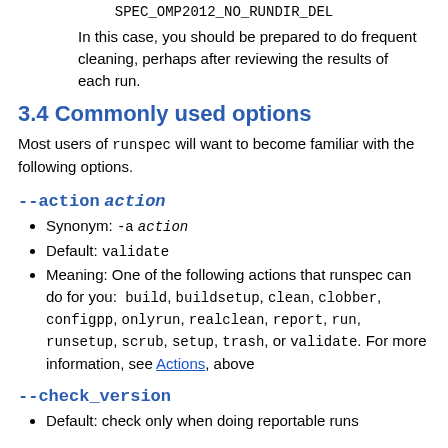SPEC_OMP2012_NO_RUNDIR_DEL
In this case, you should be prepared to do frequent cleaning, perhaps after reviewing the results of each run.
3.4 Commonly used options
Most users of runspec will want to become familiar with the following options.
--action action
Synonym: -a action
Default: validate
Meaning: One of the following actions that runspec can do for you: build, buildsetup, clean, clobber, configpp, onlyrun, realclean, report, run, runsetup, scrub, setup, trash, or validate. For more information, see Actions, above
--check_version
Default: check only when doing reportable runs